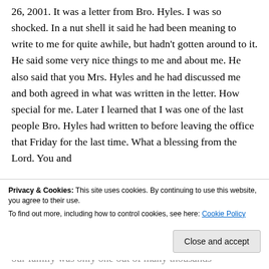26, 2001. It was a letter from Bro. Hyles. I was so shocked. In a nut shell it said he had been meaning to write to me for quite awhile, but hadn't gotten around to it. He said some very nice things to me and about me. He also said that you Mrs. Hyles and he had discussed me and both agreed in what was written in the letter. How special for me. Later I learned that I was one of the last people Bro. Hyles had written to before leaving the office that Friday for the last time. What a blessing from the Lord. You and
Privacy & Cookies: This site uses cookies. By continuing to use this website, you agree to their use.
To find out more, including how to control cookies, see here: Cookie Policy
our family was only one out of many thousands